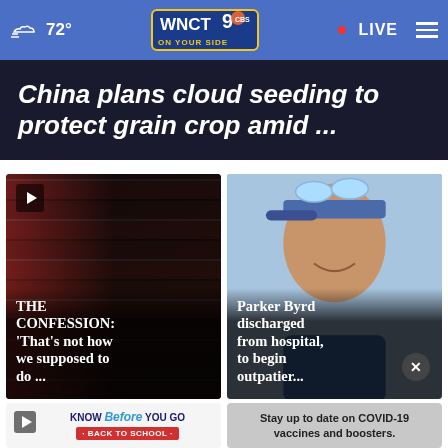72° WNCT 9 ON YOUR SIDE • LIVE
China plans cloud seeding to protect grain crop amid ...
[Figure (photo): Video thumbnail of a man in a suit in front of an American flag, dark background, with play button overlay]
THE CONFESSION: 'That's not how we supposed to do ...
[Figure (photo): Photo of a young man wearing a baseball cap and sunglasses on top of head, smiling, outdoors]
Parker Byrd discharged from hospital, to begin outpatier...
[Figure (photo): Bottom-left card with Know Before You Go Back to School graphic and play button]
KNOW Before YOU GO · BACK TO SCHOOL
[Figure (photo): Bottom-right card showing a football player image with COVID-19 vaccine text overlay]
Stay up to date on COVID-19 vaccines and boosters.